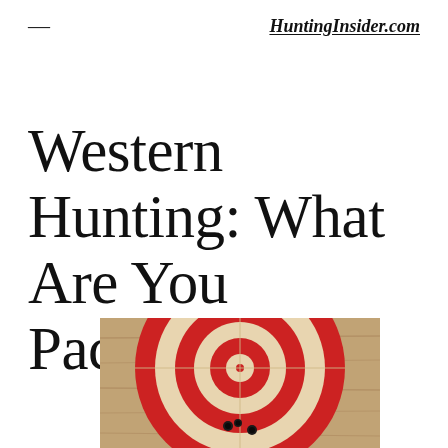≡  HuntingInsider.com
Western Hunting: What Are You Packing?
[Figure (photo): A vintage-style target with concentric red and cream/beige circles on a worn wood-grain background, with bullet holes visible near the bottom center of the target.]